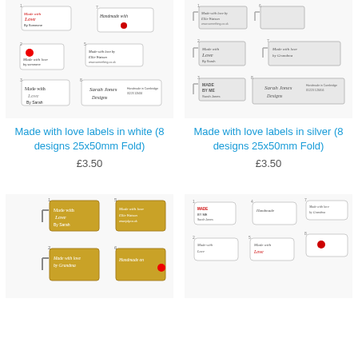[Figure (photo): White fabric sewing labels with 'Made with love' in 8 designs, 25x50mm fold style, laid flat]
[Figure (photo): Silver fabric sewing labels with 'Made with love' in 8 designs, 25x50mm fold style, laid flat]
Made with love labels in white (8 designs 25x50mm Fold)
£3.50
Made with love labels in silver (8 designs 25x50mm Fold)
£3.50
[Figure (photo): Gold fabric sewing labels with 'Made with love' in 8 designs, 25x50mm fold style]
[Figure (photo): White/grey fabric sewing labels with 'Made with love' in 8 designs, small size fold style]